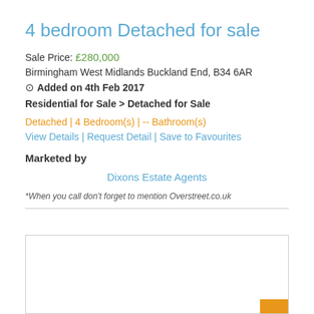4 bedroom Detached for sale
Sale Price: £280,000
Birmingham West Midlands Buckland End, B34 6AR
⊙ Added on 4th Feb 2017
Residential for Sale > Detached for Sale
Detached | 4 Bedroom(s) | -- Bathroom(s)
View Details | Request Detail | Save to Favourites
Marketed by
Dixons Estate Agents
*When you call don't forget to mention Overstreet.co.uk
[Figure (other): Empty white box with orange corner decoration at bottom right]